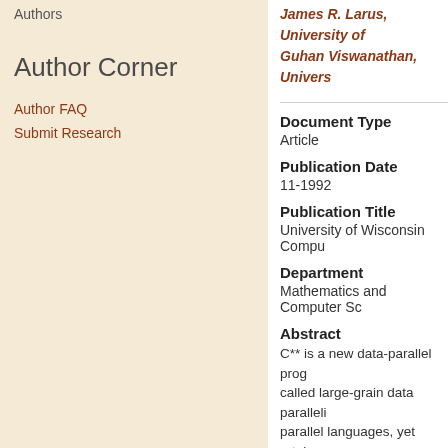Authors
Author Corner
Author FAQ
Submit Research
James R. Larus, University of... Guhan Viswanathan, Univers...
Document Type
Article
Publication Date
11-1992
Publication Title
University of Wisconsin Compu...
Department
Mathematics and Computer Sc...
Abstract
C** is a new data-parallel prog... called large-grain data paralleli... parallel languages, yet retains... deterministic behavior. This sty... parallel computation. Large-gra... permitting a wider range of alg... oriented programming languag... Existing scientific programming... such as operator extensibility, a...